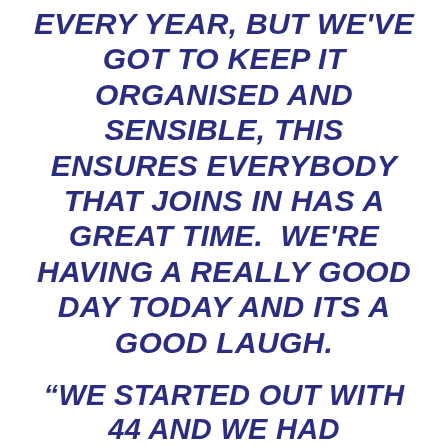EVERY YEAR, BUT WE'VE GOT TO KEEP IT ORGANISED AND SENSIBLE, THIS ENSURES EVERYBODY THAT JOINS IN HAS A GREAT TIME.  WE'RE HAVING A REALLY GOOD DAY TODAY AND ITS A GOOD LAUGH.
“WE STARTED OUT WITH 44 AND WE HAD INCREASED TO 86 PEOPLE BY THE TIME WE GOT TO THE ROYAL HOTEL FOR THE BBQ (THIS GOT TO OVER 100 PEOPLE LATER ON).
“IT;S REALLY WELL SUPPORTED AND IT’S GREAT FOR PUDSEY.”